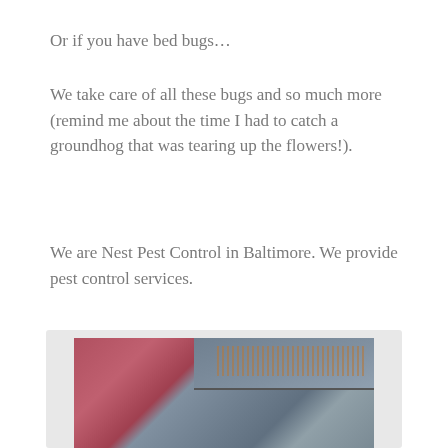Or if you have bed bugs...
We take care of all these bugs and so much more (remind me about the time I had to catch a groundhog that was tearing up the flowers!).
We are Nest Pest Control in Baltimore. We provide pest control services.
[Figure (photo): Close-up photograph of bed bugs along the seam of a mattress or fabric, showing small reddish-brown insects clustered along the edge where a gray fabric meets a pink/red surface.]